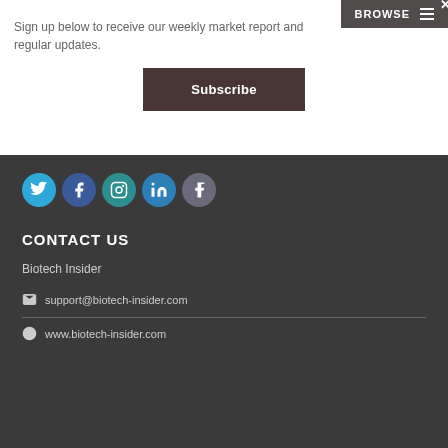BROWSE
Sign up below to receive our weekly market report and regular updates.
Subscribe
[Figure (other): Social media icon buttons: Twitter, Facebook, Instagram, LinkedIn, Tumblr]
CONTACT US
Biotech Insider
support@biotech-insider.com
www.biotech-insider.com